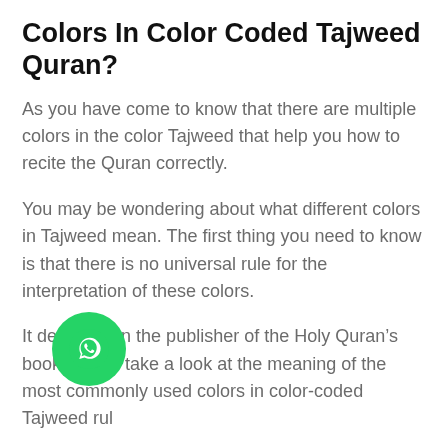Colors In Color Coded Tajweed Quran?
As you have come to know that there are multiple colors in the color Tajweed that help you how to recite the Quran correctly.
You may be wondering about what different colors in Tajweed mean. The first thing you need to know is that there is no universal rule for the interpretation of these colors.
It depends on the publisher of the Holy Quran’s book. Let us take a look at the meaning of the most commonly used colors in color-coded Tajweed rules.
Black Color Indicates Qalqalah: Qalqalah refers to the echo letters. It has three main types. First is Qalqalah Kubra (Strong Echo)